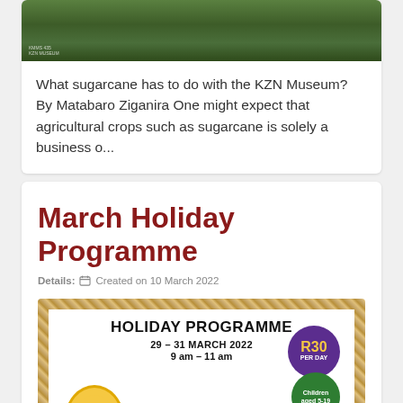[Figure (photo): Photograph of sugarcane field or grassland, showing dense green vegetation]
What sugarcane has to do with the KZN Museum? By Matabaro Ziganira One might expect that agricultural crops such as sugarcane is solely a business o...
March Holiday Programme
Details: Created on 10 March 2022
[Figure (infographic): Holiday Programme flyer with rope border. Text reads: HOLIDAY PROGRAMME, 29 – 31 MARCH 2022, 9 am – 11 am. Purple circle: R30 PER DAY. Green circle: Children aged 5-19. Yellow oval on left with decorative food/plant image.]